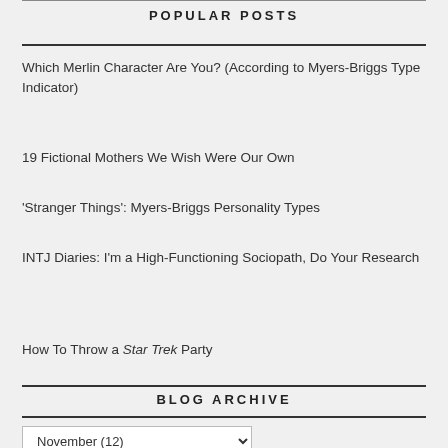POPULAR POSTS
Which Merlin Character Are You? (According to Myers-Briggs Type Indicator)
19 Fictional Mothers We Wish Were Our Own
'Stranger Things': Myers-Briggs Personality Types
INTJ Diaries: I'm a High-Functioning Sociopath, Do Your Research
How To Throw a Star Trek Party
BLOG ARCHIVE
November (12)